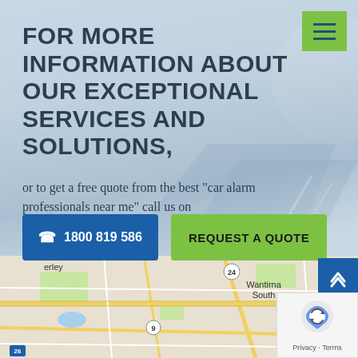[Figure (screenshot): Navigation hamburger menu button, green square with three dark horizontal lines]
FOR MORE INFORMATION ABOUT OUR EXCEPTIONAL SERVICES AND SOLUTIONS,
or to get a free quote from the best "car alarm professionals near me" call us on
☎ 1800 819 586
REQUEST A QUOTE
[Figure (map): Google Maps screenshot showing Wantirna South, Ferntree Gully, and surrounding Melbourne suburbs with road network]
[Figure (other): Google reCAPTCHA badge with Privacy and Terms links]